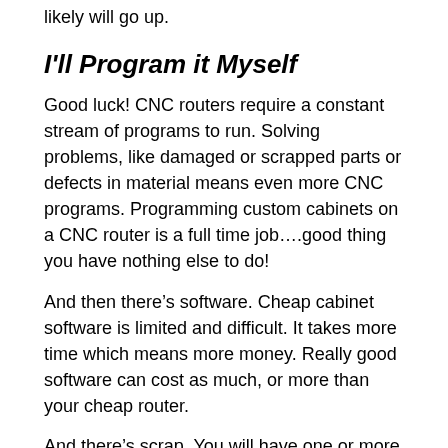likely will go up.
I'll Program it Myself
Good luck! CNC routers require a constant stream of programs to run. Solving problems, like damaged or scrapped parts or defects in material means even more CNC programs. Programming custom cabinets on a CNC router is a full time job….good thing you have nothing else to do!
And then there’s software. Cheap cabinet software is limited and difficult. It takes more time which means more money. Really good software can cost as much, or more than your cheap router.
And there’s scrap. You will have one or more partial sheets left from each job. Regardless of what they tell you, it is so difficult, complex and expensive to add this to new jobs that virtually everyone just throws it away. With the Cut Center, you just scan the label on any extra material lying around and it is added to the job, automatically. This can mean a lot of money saved at